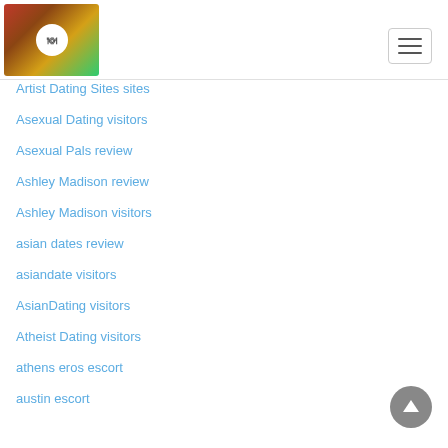[Figure (logo): Website logo with food imagery and circular emblem on wooden background]
[Figure (other): Hamburger menu icon button with three horizontal lines]
Artist Dating Sites sites
Asexual Dating visitors
Asexual Pals review
Ashley Madison review
Ashley Madison visitors
asian dates review
asiandate visitors
AsianDating visitors
Atheist Dating visitors
athens eros escort
austin escort